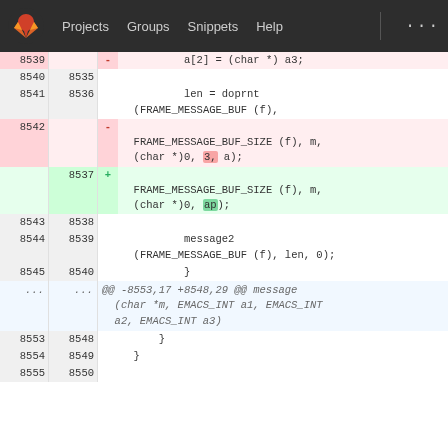GitLab navigation: Projects, Groups, Snippets, Help
[Figure (screenshot): Code diff view showing changes to C source code around lines 8539-8555. Removed lines shown in pink, added lines in green. The diff changes 'a' parameter to 'ap' and removes the explicit array indexing.]